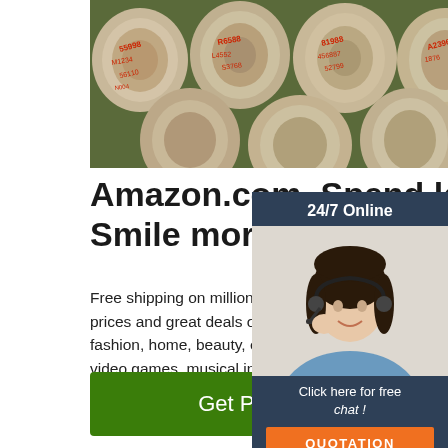[Figure (photo): Photo of cut logs with red markings on their ends, viewed from above]
Amazon.com. Spend less. Smile more.
Free shipping on millions of items. Get the best of Shopping and Entertainment with Prime. Enjoy low prices and great deals on the largest selection of everyday essentials and other products, including fashion, home, beauty, electronics, Alexa Devices, sporting goods, toys, automotive, pets, baby, books, video games, musical instruments, office supplies, and more.
[Figure (infographic): 24/7 Online chat widget with woman wearing headset, Click here for free chat, QUOTATION button]
[Figure (logo): TOP logo with orange dots forming a triangle above orange text saying TOP]
Get Price